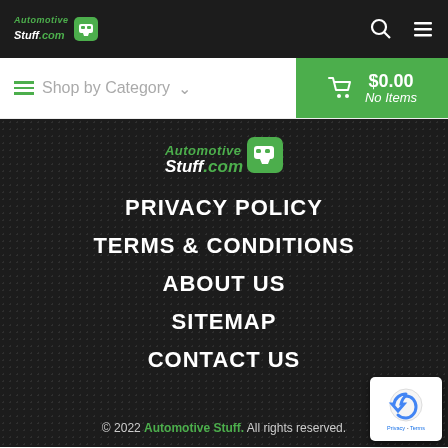Automotive Stuff.com
Shop by Category ∨  $0.00 No Items
[Figure (logo): Automotive Stuff.com logo with green car icon on dark background]
PRIVACY POLICY
TERMS & CONDITIONS
ABOUT US
SITEMAP
CONTACT US
© 2022 Automotive Stuff. All rights reserved.